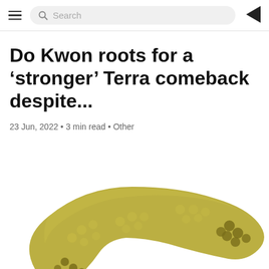Search
Do Kwon roots for a ‘stronger’ Terra comeback despite...
23 Jun, 2022 • 3 min read • Other
[Figure (illustration): A golden/olive-colored boomerang shape with decorative dot patterns on its surface, shown against a white background. The dots form patterns along the inner curve of the boomerang.]